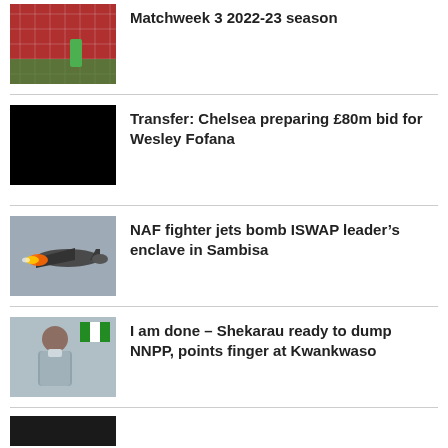[Figure (photo): Soccer match photo showing a goal net and player in red]
Matchweek 3 2022-23 season
[Figure (photo): Black image (blocked/unavailable photo)]
Transfer: Chelsea preparing £80m bid for Wesley Fofana
[Figure (photo): Fighter jet with flames/fire exhaust against grey sky]
NAF fighter jets bomb ISWAP leader’s enclave in Sambisa
[Figure (photo): Elderly man in light blue clothing seated, Nigerian flag in background]
I am done – Shekarau ready to dump NNPP, points finger at Kwankwaso